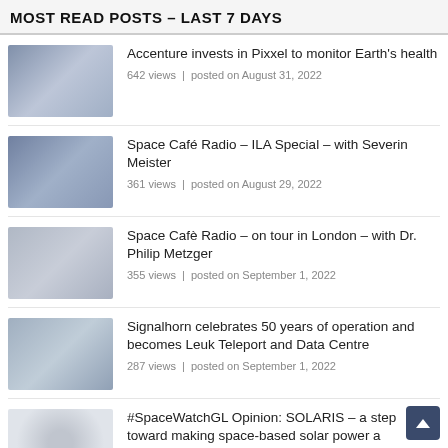MOST READ POSTS – LAST 7 DAYS
Accenture invests in Pixxel to monitor Earth's health
642 views | posted on August 31, 2022
Space Café Radio – ILA Special – with Severin Meister
361 views | posted on August 29, 2022
Space Cafè Radio – on tour in London – with Dr. Philip Metzger
355 views | posted on September 1, 2022
Signalhorn celebrates 50 years of operation and becomes Leuk Teleport and Data Centre
287 views | posted on September 1, 2022
#SpaceWatchGL Opinion: SOLARIS – a step toward making space-based solar power a European reality
286 views | posted on August 26, 2022